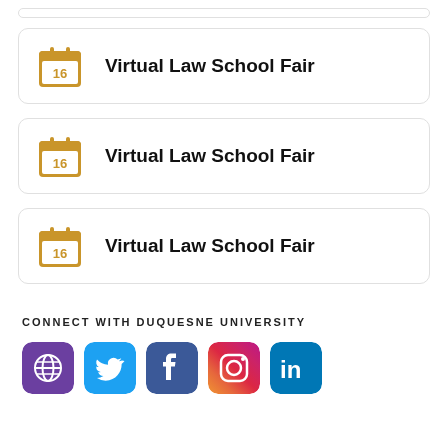Virtual Law School Fair
Virtual Law School Fair
Virtual Law School Fair
CONNECT WITH DUQUESNE UNIVERSITY
[Figure (infographic): Social media icons: globe/website (purple), Twitter (blue), Facebook (dark blue), Instagram (pink/red), LinkedIn (blue)]